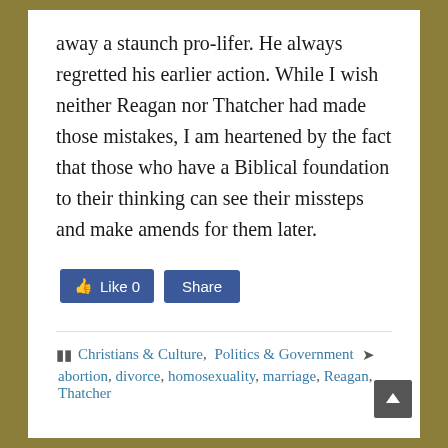away a staunch pro-lifer. He always regretted his earlier action. While I wish neither Reagan nor Thatcher had made those mistakes, I am heartened by the fact that those who have a Biblical foundation to their thinking can see their missteps and make amends for them later.
[Figure (screenshot): Facebook Like button showing 0 likes and a Share button, both in blue]
Christians & Culture, Politics & Government  abortion, divorce, homosexuality, marriage, Reagan, Thatcher